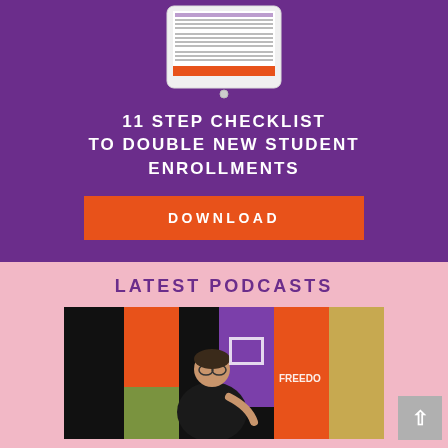[Figure (illustration): Tablet device displaying a checklist document with purple and orange accent colors, shown in the upper portion of the purple banner section]
11 STEP CHECKLIST TO DOUBLE NEW STUDENT ENROLLMENTS
[Figure (other): Orange download button with white text reading DOWNLOAD]
LATEST PODCASTS
[Figure (photo): Photo of a man in a black t-shirt speaking or presenting in front of orange and purple banner stands with the word FREEDOM visible, against a dark background]